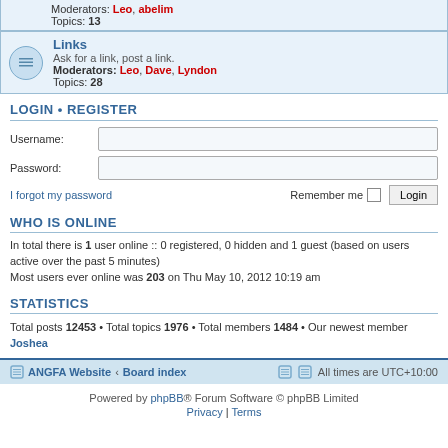Moderators: Leo, abelim
Topics: 13
Links
Ask for a link, post a link.
Moderators: Leo, Dave, Lyndon
Topics: 28
LOGIN • REGISTER
Username:
Password:
I forgot my password
Remember me
Login
WHO IS ONLINE
In total there is 1 user online :: 0 registered, 0 hidden and 1 guest (based on users active over the past 5 minutes)
Most users ever online was 203 on Thu May 10, 2012 10:19 am
STATISTICS
Total posts 12453 • Total topics 1976 • Total members 1484 • Our newest member Joshea
ANGFA Website · Board index   All times are UTC+10:00
Powered by phpBB® Forum Software © phpBB Limited
Privacy | Terms